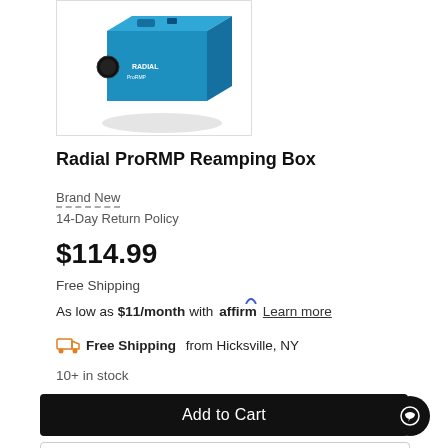[Figure (photo): Blue Radial ProRMP Reamping Box product photo on white background]
Radial ProRMP Reamping Box
Brand New
14-Day Return Policy
$114.99
Free Shipping
As low as $11/month with affirm Learn more
Free Shipping from Hicksville, NY
10+ in stock
Add to Cart
Watch